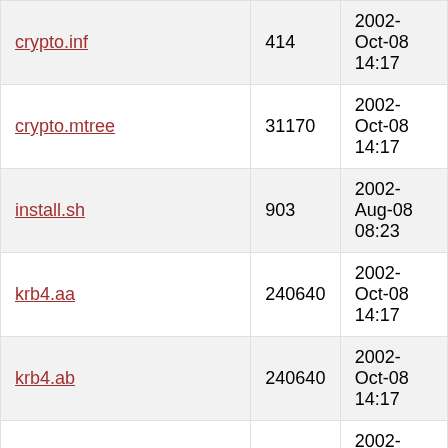| Filename | Size | Date |
| --- | --- | --- |
| crypto.inf | 414 | 2002-Oct-08 14:17 |
| crypto.mtree | 31170 | 2002-Oct-08 14:17 |
| install.sh | 903 | 2002-Aug-08 08:23 |
| krb4.aa | 240640 | 2002-Oct-08 14:17 |
| krb4.ab | 240640 | 2002-Oct-08 14:17 |
| krb4.ac | 240640 | 2002-Oct-08 14:17 |
| krb4.ad | 240640 | 2002-Oct-08 14:17 |
| krb4.ae | 240640 | 2002-Oct-08 14:17 |
| krb4.af | 75213 | 2002-Oct-08 14:17 |
| krb4.inf | 184 | 2002-Oct-08 14:17 |
| krb4.mtree | 33653 | 2002-Oct-08 14:17 |
| krb5... | ... | 2002-Oct-08 |